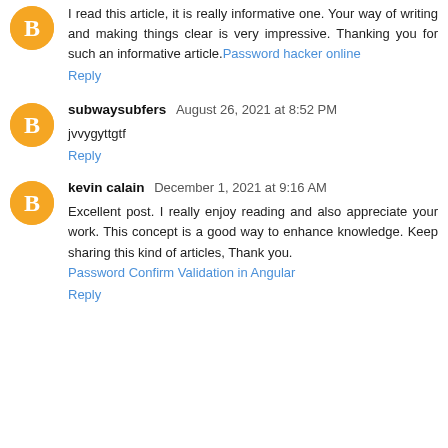I read this article, it is really informative one. Your way of writing and making things clear is very impressive. Thanking you for such an informative article. Password hacker online
Reply
subwaysubfers August 26, 2021 at 8:52 PM
jvvygyttgtf
Reply
kevin calain December 1, 2021 at 9:16 AM
Excellent post. I really enjoy reading and also appreciate your work. This concept is a good way to enhance knowledge. Keep sharing this kind of articles, Thank you. Password Confirm Validation in Angular
Reply